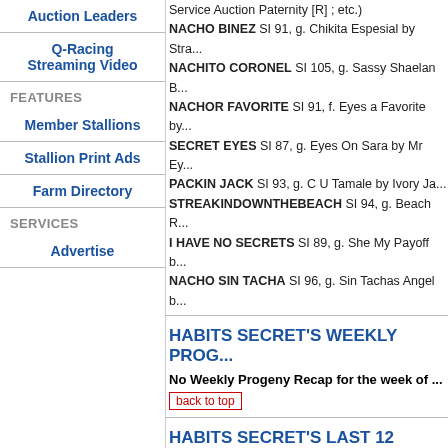Auction Leaders
Q-Racing Streaming Video
FEATURES
Member Stallions
Stallion Print Ads
Farm Directory
SERVICES
Advertise
NACHO BINEZ SI 91, g. Chikita Espesial by Stra...
NACHITO CORONEL SI 105, g. Sassy Shaelan B...
NACHOR FAVORITE SI 91, f. Eyes a Favorite by...
SECRET EYES SI 87, g. Eyes On Sara by Mr Ey...
PACKIN JACK SI 93, g. C U Tamale by Ivory Ja...
STREAKINDOWNTHEBEACH SI 94, g. Beach R...
I HAVE NO SECRETS SI 89, g. She My Payoff b...
NACHO SIN TACHA SI 96, g. Sin Tachas Angel b...
HABITS SECRET'S WEEKLY PROG...
No Weekly Progeny Recap for the week of ...
back to top
HABITS SECRET'S LAST 12 MONT...
Show Progeny History
HABITS SECRET'S RACE RECORD...
| Age | Starts |
| --- | --- |
| 2 | 8 |
| 3 | 9 |